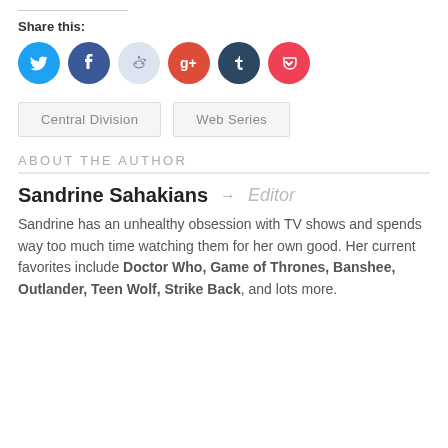Share this:
[Figure (other): Row of six social media sharing icons: Twitter (blue circle), Facebook (dark blue circle), Reddit (light blue circle), Google+ (red circle), Tumblr (dark navy circle), Pocket (red circle)]
Central Division
Web Series
ABOUT THE AUTHOR
Sandrine Sahakians → Editor
Sandrine has an unhealthy obsession with TV shows and spends way too much time watching them for her own good. Her current favorites include Doctor Who, Game of Thrones, Banshee, Outlander, Teen Wolf, Strike Back, and lots more.